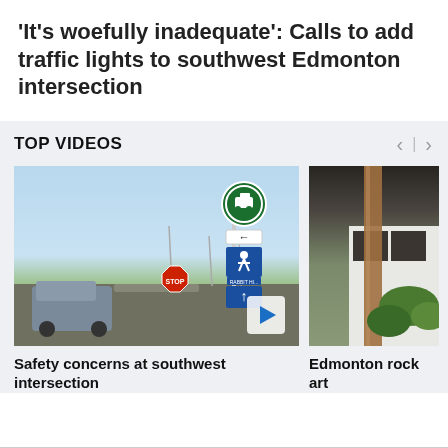'It's woefully inadequate': Calls to add traffic lights to southwest Edmonton intersection
TOP VIDEOS
[Figure (photo): Video thumbnail showing a road intersection with traffic signs including a green circular truck sign, a left-arrow sign, a blue pedestrian sign, and a blue upward-arrow sign. A grey pickup truck is visible in the foreground on the road.]
Safety concerns at southwest intersection
[Figure (photo): Video thumbnail showing a residential scene with a wooden post or beam in the foreground and a white house with green foliage in the background.]
Edmonton rock art